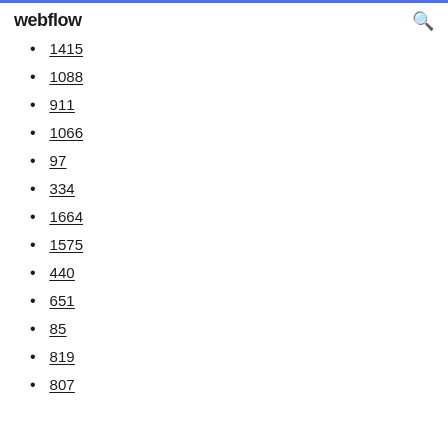webflow
1415
1088
911
1066
97
334
1664
1575
440
651
85
819
807